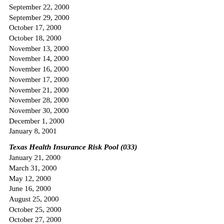September 22, 2000
September 29, 2000
October 17, 2000
October 18, 2000
November 13, 2000
November 14, 2000
November 16, 2000
November 17, 2000
November 21, 2000
November 28, 2000
November 30, 2000
December 1, 2000
January 8, 2001
Texas Health Insurance Risk Pool (033)
January 21, 2000
March 31, 2000
May 12, 2000
June 16, 2000
August 25, 2000
October 25, 2000
October 27, 2000
November 10, 2000
Health Professions Council (364)
January 24, 2000